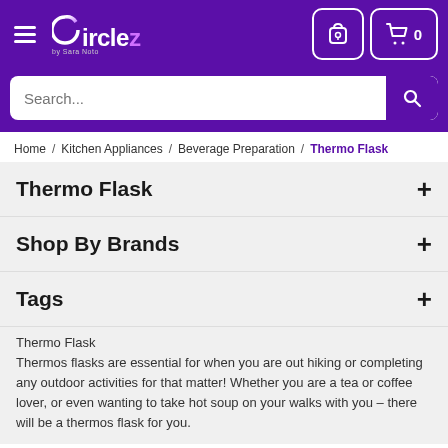[Figure (logo): Circlez logo with purple background, hamburger menu, user icon, and cart icon with 0 count]
[Figure (screenshot): Search bar with placeholder text 'Search...' and purple search button]
Home / Kitchen Appliances / Beverage Preparation / Thermo Flask
Thermo Flask
Shop By Brands
Tags
Thermo Flask
Thermos flasks are essential for when you are out hiking or completing any outdoor activities for that matter! Whether you are a tea or coffee lover, or even wanting to take hot soup on your walks with you – there will be a thermos flask for you.